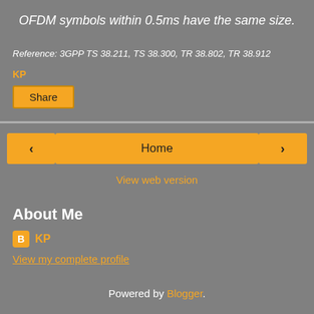OFDM symbols within 0.5ms have the same size.
Reference: 3GPP TS 38.211, TS 38.300, TR 38.802, TR 38.912
KP
Share
Home
View web version
About Me
KP
View my complete profile
Powered by Blogger.